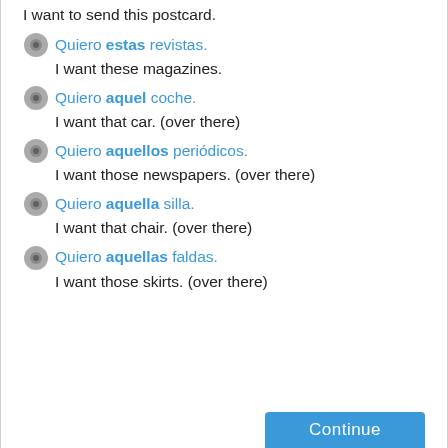I want to send this postcard.
Quiero estas revistas. / I want these magazines.
Quiero aquel coche. / I want that car. (over there)
Quiero aquellos periódicos. / I want those newspapers. (over there)
Quiero aquella silla. / I want that chair. (over there)
Quiero aquellas faldas. / I want those skirts. (over there)